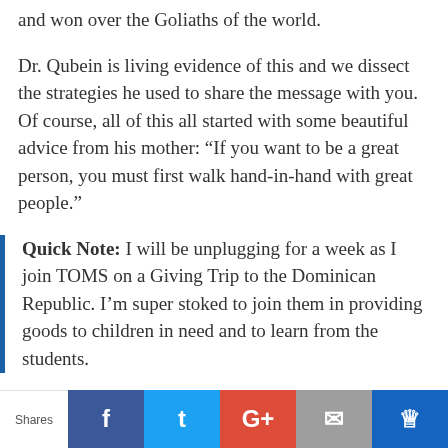and won over the Goliaths of the world.
Dr. Qubein is living evidence of this and we dissect the strategies he used to share the message with you. Of course, all of this all started with some beautiful advice from his mother: “If you want to be a great person, you must first walk hand-in-hand with great people.”
Quick Note: I will be unplugging for a week as I join TOMS on a Giving Trip to the Dominican Republic. I’m super stoked to join them in providing goods to children in need and to learn from the students.
Thank you so much for tuning in and joining me
Shares | Facebook | Twitter | G+ | Email | Crown